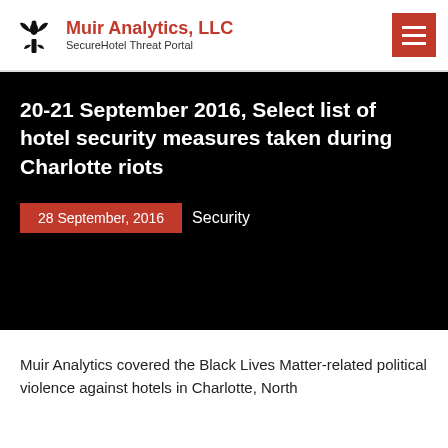Muir Analytics, LLC — SecureHotel Threat Portal
20–21 September 2016, Select list of hotel security measures taken during Charlotte riots
28 September, 2016  Security
Muir Analytics covered the Black Lives Matter-related political violence against hotels in Charlotte, North